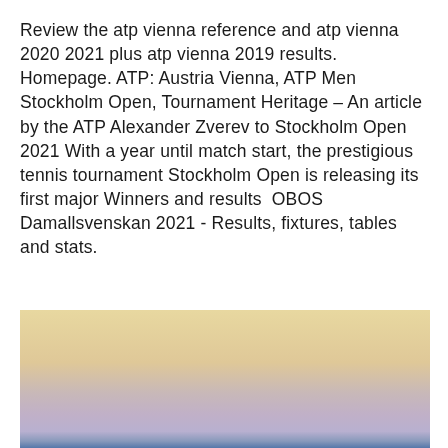Review the atp vienna reference and atp vienna 2020 2021 plus atp vienna 2019 results. Homepage. ATP: Austria Vienna, ATP Men Stockholm Open, Tournament Heritage – An article by the ATP Alexander Zverev to Stockholm Open 2021 With a year until match start, the prestigious tennis tournament Stockholm Open is releasing its first major Winners and results  OBOS Damallsvenskan 2021 - Results, fixtures, tables and stats.
[Figure (photo): A landscape photo showing a gradient sky scene with warm sandy/golden tones at top transitioning to soft pink and lavender in the middle, and a blue band at the bottom suggesting water or horizon.]